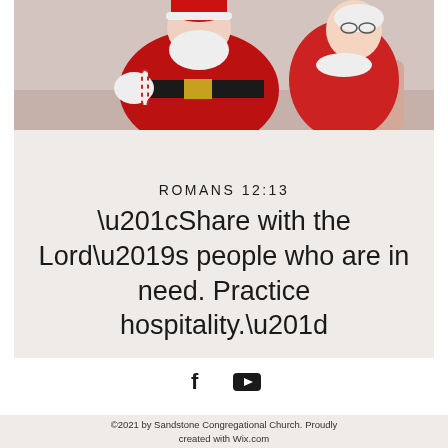[Figure (photo): Photo of Santa Claus and Mrs. Claus dressed in red suits, seated together]
ROMANS 12:13
“Share with the Lord’s people who are in need. Practice hospitality.”
[Figure (other): Social media icons: Facebook (f) and YouTube (play button)]
©2021 by Sandstone Congregational Church. Proudly created with Wix.com